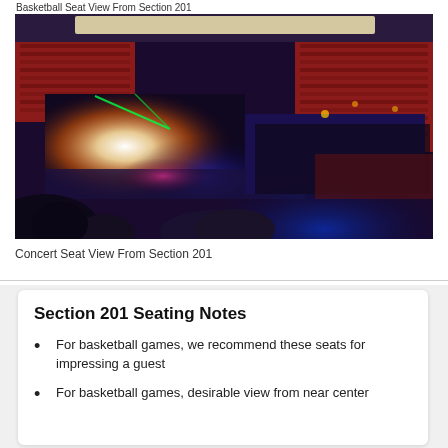Basketball Seat View From Section 201
[Figure (photo): Concert seat view from Section 201 showing a brightly lit stage with colorful lights and a large arena filled with spectators.]
Concert Seat View From Section 201
Section 201 Seating Notes
For basketball games, we recommend these seats for impressing a guest
For basketball games, desirable view from near center